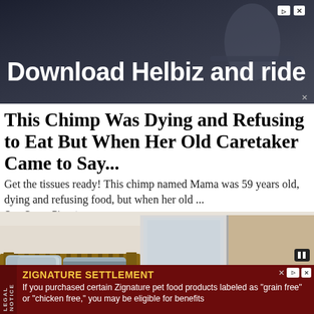[Figure (screenshot): Advertisement banner with dark background showing a person riding an electric scooter. Text reads 'Download Helbiz and ride'. Has ad badge and close button in top right corner.]
This Chimp Was Dying and Refusing to Eat But When Her Old Caretaker Came to Say...
Get the tissues ready! This chimp named Mama was 59 years old, dying and refusing food, but when her old ...
One Green Planet
[Figure (photo): Photo of a bedroom interior showing a wooden bed with pillows, and a large wardrobe/cabinet with glass doors.]
[Figure (screenshot): Legal notice advertisement banner with dark red background. Title 'ZIGNATURE SETTLEMENT' in yellow. Text: 'If you purchased certain Zignature pet food products labeled as "grain free" or "chicken free," you may be eligible for benefits'. Has LEGAL NOTICE vertical label on left side.]